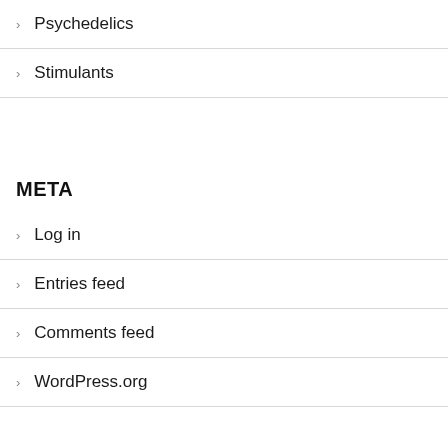Psychedelics
Stimulants
META
Log in
Entries feed
Comments feed
WordPress.org